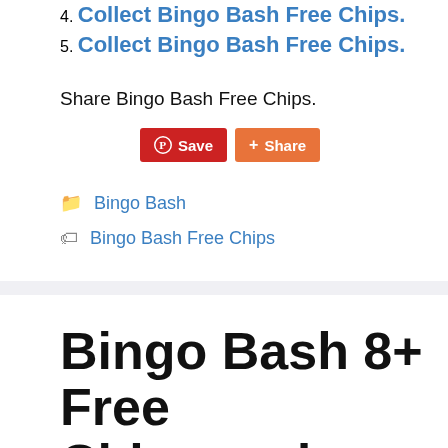4. Collect Bingo Bash Free Chips.
5. Collect Bingo Bash Free Chips.
Share Bingo Bash Free Chips.
[Figure (other): Pinterest Save button (red) and Share button (orange)]
Bingo Bash
Bingo Bash Free Chips
Bingo Bash 8+ Free Chips and Tokens